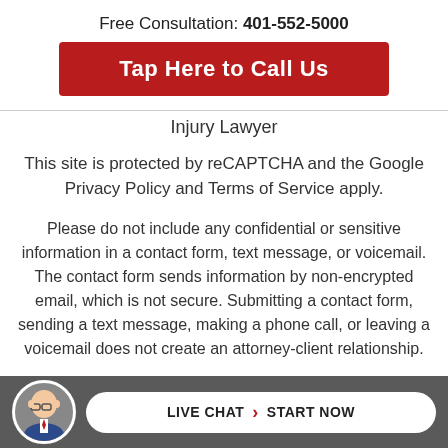Free Consultation: 401-552-5000
Tap Here to Call Us
Injury Lawyer
This site is protected by reCAPTCHA and the Google Privacy Policy and Terms of Service apply.
Please do not include any confidential or sensitive information in a contact form, text message, or voicemail. The contact form sends information by non-encrypted email, which is not secure. Submitting a contact form, sending a text message, making a phone call, or leaving a voicemail does not create an attorney-client relationship.
LIVE CHAT › START NOW